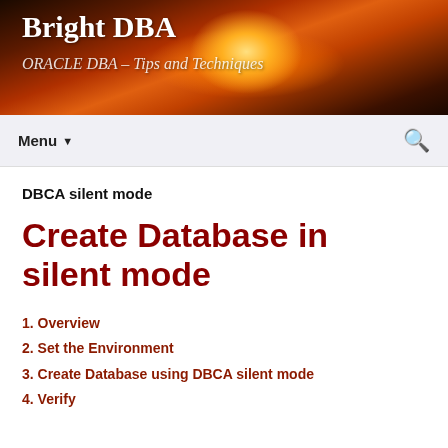Bright DBA
ORACLE DBA – Tips and Techniques
Menu
DBCA silent mode
Create Database in silent mode
1. Overview
2. Set the Environment
3. Create Database using DBCA silent mode
4. Verify